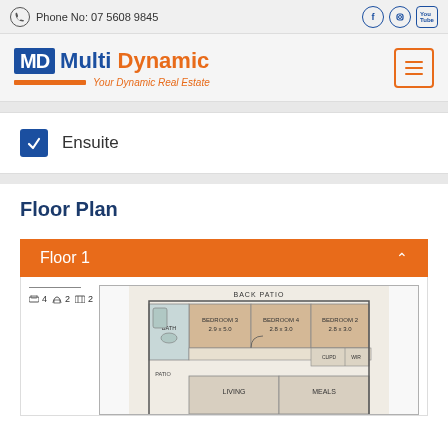Phone No: 07 5608 9845
[Figure (logo): Multi Dynamic - Your Dynamic Real Estate logo with MD blue box and orange tagline bar]
Ensuite
Floor Plan
Floor 1
[Figure (engineering-diagram): Floor plan layout showing Bedroom 3 (2.9x5.0), Bedroom 4 (2.8x3.0), Bedroom 2 (2.8x3.0), Back Patio, Bath, Living, Meals areas with icons showing 4 beds, 2 baths, 2 garage]